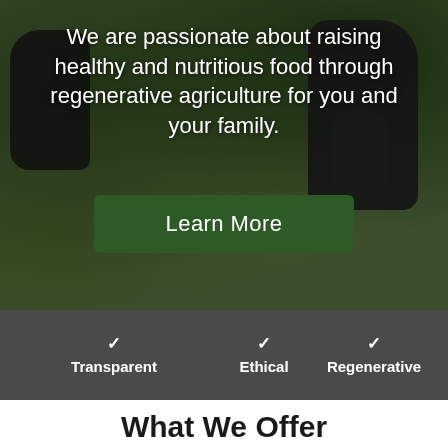[Figure (photo): Background photo of cattle grazing in a lush green field with trees in the background. Dark cattle visible on left and right sides of the image.]
We are passionate about raising healthy and nutritious food through regenerative agriculture for you and your family.
Learn More
✓ Transparent    ✓ Ethical    ✓ Regenerative
What We Offer